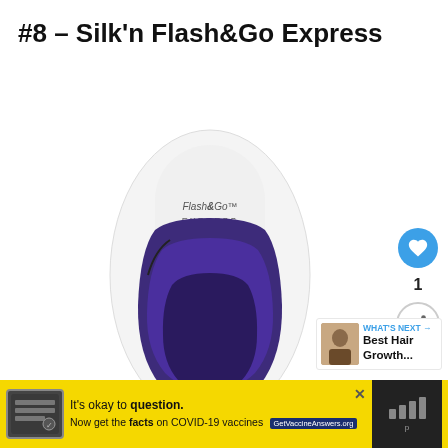#8 – Silk'n Flash&Go Express
[Figure (photo): Product photo of the Silk'n Flash&Go Express hair removal device — white and purple handheld IPL device with Flash&Go EXPRESS branding visible on the front face]
[Figure (other): Sidebar UI: heart/like button (blue circle), like count '1', and share button (circle with share icon)]
[Figure (other): What's Next widget: thumbnail image with label 'WHAT'S NEXT →' and title 'Best Hair Growth...']
[Figure (other): Yellow advertisement banner at bottom: logo on left, text 'It's okay to question. Now get the facts on COVID-19 vaccines GetVaccineAnswers.org', close X button, dark panel on right with bar/menu icon]